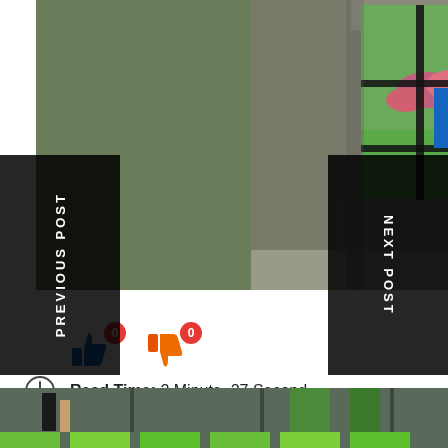[Figure (photo): A stone wall with iron-barred window looking out onto a green park garden with grass, trees, and flowering plants.]
PREVIOUS POST
NEXT POST
[Figure (infographic): Thumbs up icon (blue) with badge count 0, and thumbs down icon (orange) with badge count 0.]
Read Time:  2 Minute, 27 Second
[Figure (photo): Bottom portion of another photo showing outdoor scene with green elements.]